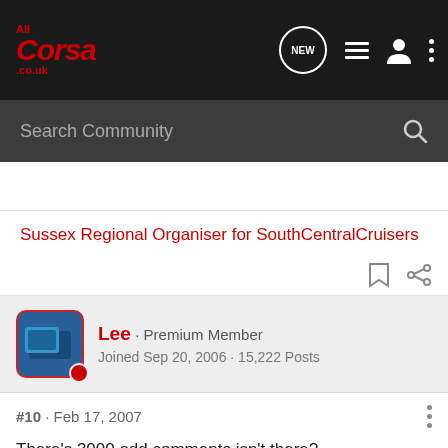[Figure (logo): AllCorsa.co.uk logo in red on dark background with navigation icons (NEW bubble, list, user, dots)]
[Figure (screenshot): Search Community search bar with magnifying glass icon on dark grey background]
Sussex Regional Organiser for SouthCentralCruisers
[Figure (screenshot): Lee · Premium Member profile card with avatar. Joined Sep 20, 2006 · 15,222 Posts]
#10 · Feb 17, 2007
There's 3000 odd comments isn't there?